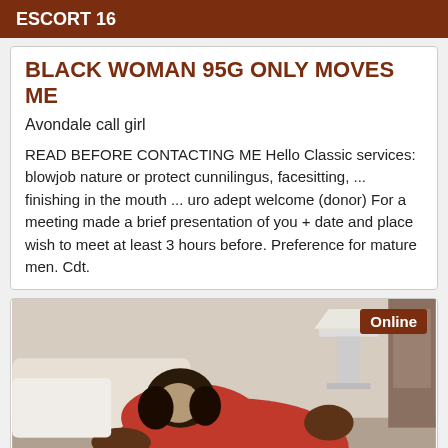ESCORT 16
BLACK WOMAN 95G ONLY MOVES ME
Avondale call girl
READ BEFORE CONTACTING ME Hello Classic services: blowjob nature or protect cunnilingus, facesitting, ... finishing in the mouth ... uro adept welcome (donor) For a meeting made a brief presentation of you + date and place wish to meet at least 3 hours before. Preference for mature men. Cdt.
[Figure (photo): Photo of a woman in a red outfit in a bedroom setting, with an Online badge in the top right corner.]